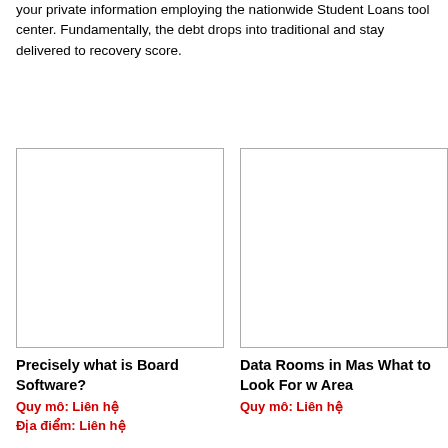your private information employing the nationwide Student Loans tool center. Fundamentally, the debt drops into traditional and stay delivered to recovery score.
[Figure (other): Empty white rectangular image placeholder for 'Precisely what is Board Software?' article]
Precisely what is Board Software?
Quy mô: Liên hệ
Địa điểm: Liên hệ
[Figure (other): Empty white rectangular image placeholder for 'Data Rooms in Mas... What to Look For w... Area' article]
Data Rooms in Mas What to Look For w Area
Quy mô: Liên hệ